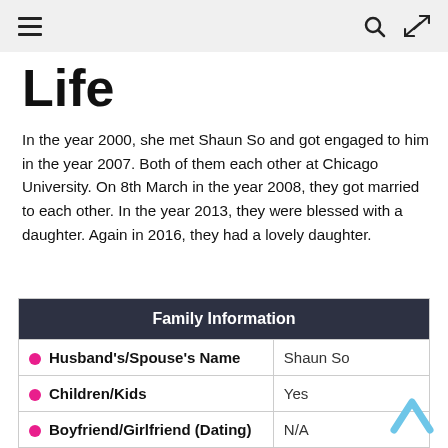≡  🔍  ⇄
Life
In the year 2000, she met Shaun So and got engaged to him in the year 2007. Both of them each other at Chicago University. On 8th March in the year 2008, they got married to each other. In the year 2013, they were blessed with a daughter. Again in 2016, they had a lovely daughter.
| Family Information |  |
| --- | --- |
| Husband's/Spouse's Name | Shaun So |
| Children/Kids | Yes |
| Boyfriend/Girlfriend (Dating) | N/A |
| Civil Status | Married |